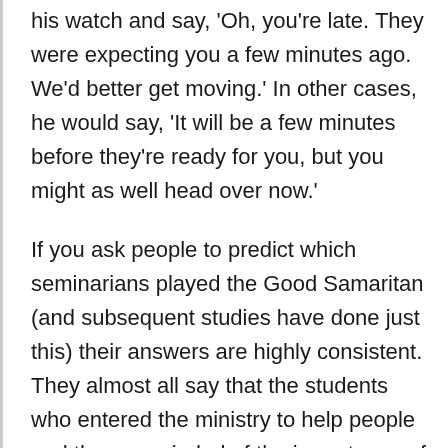his watch and say, 'Oh, you're late. They were expecting you a few minutes ago. We'd better get moving.' In other cases, he would say, 'It will be a few minutes before they're ready for you, but you might as well head over now.'
If you ask people to predict which seminarians played the Good Samaritan (and subsequent studies have done just this) their answers are highly consistent. They almost all say that the students who entered the ministry to help people and those reminded of the importance of compassion by having just read the